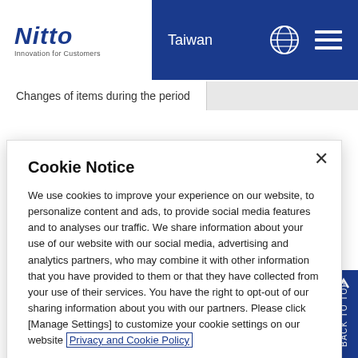[Figure (screenshot): Nitto website header with blue banner showing Nitto logo (Innovation for Customers), Taiwan label, globe icon, and hamburger menu icon]
Changes of items during the period
Cookie Notice
We use cookies to improve your experience on our website, to personalize content and ads, to provide social media features and to analyses our traffic. We share information about your use of our website with our social media, advertising and analytics partners, who may combine it with other information that you have provided to them or that they have collected from your use of their services. You have the right to opt-out of our sharing information about you with our partners. Please click [Manage Settings] to customize your cookie settings on our website Privacy and Cookie Policy
Accept Cookies
Manage Settings